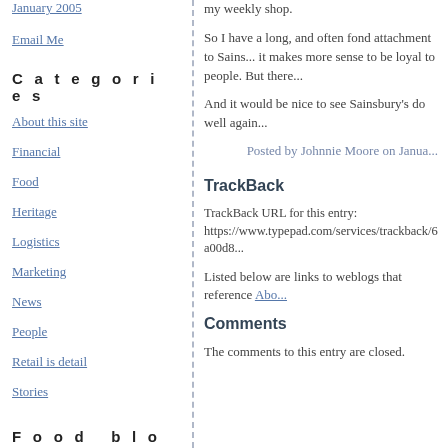January 2005
Email Me
Categories
About this site
Financial
Food
Heritage
Logistics
Marketing
News
People
Retail is detail
Stories
Food blogs
Cook Sister
Cats Whiskers
my weekly shop.
So I have a long, and often fond attachment to Sains... it makes more sense to be loyal to people. But there...
And it would be nice to see Sainsbury's do well again...
Posted by Johnnie Moore on Janua...
TrackBack
TrackBack URL for this entry: https://www.typepad.com/services/trackback/6a00d8...
Listed below are links to weblogs that reference Abo...
Comments
The comments to this entry are closed.